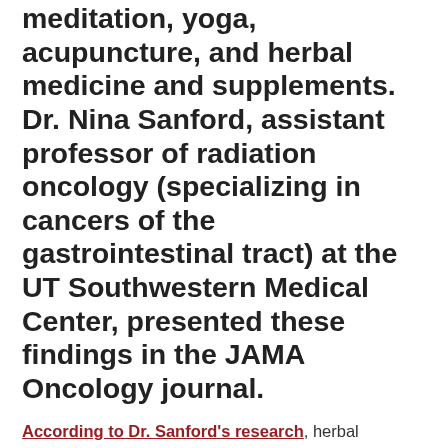meditation, yoga, acupuncture, and herbal medicine and supplements. Dr. Nina Sanford, assistant professor of radiation oncology (specializing in cancers of the gastrointestinal tract) at the UT Southwestern Medical Center, presented these findings in the JAMA Oncology journal.
According to Dr. Sanford's research, herbal medications/supplements make up the most common alternative, with acupuncture or osteopathic manipulation being the second most popular. Further, younger patients and women are more likely to take the herbal supplements and medications.
However, 29% of the users of these meds did NOT tell their physicians that they were taking them. When